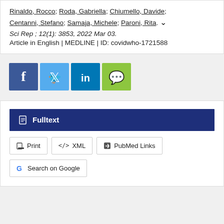Rinaldo, Rocco; Roda, Gabriella; Chiumello, Davide; Centanni, Stefano; Samaja, Michele; Paroni, Rita. ▾
Sci Rep ; 12(1): 3853, 2022 Mar 03.
Article in English | MEDLINE | ID: covidwho-1721588
[Figure (other): Social sharing buttons: Facebook (blue), Twitter (light blue), LinkedIn (dark blue), WhatsApp (green)]
Fulltext
Print | XML | PubMed Links
Search on Google